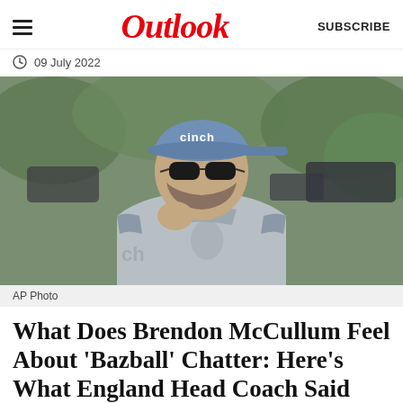Outlook  SUBSCRIBE
09 July 2022
[Figure (photo): Man wearing a grey England cricket hoodie and a blue 'cinch' cap with sunglasses, holding his hand to his chin, with cars and green foliage in the background. Caption: AP Photo]
AP Photo
What Does Brendon McCullum Feel About 'Bazball' Chatter: Here's What England Head Coach Said